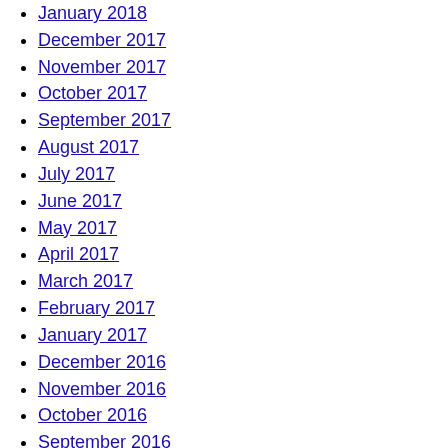January 2018
December 2017
November 2017
October 2017
September 2017
August 2017
July 2017
June 2017
May 2017
April 2017
March 2017
February 2017
January 2017
December 2016
November 2016
October 2016
September 2016
August 2016
July 2016
June 2016
May 2016
April 2016
March 2016
February 2016
January 2016
December 2015